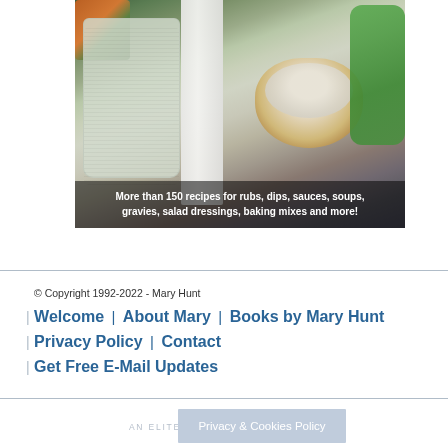[Figure (photo): Photo of ranch dressing in a glass jar, a wooden bowl of dry seasoning mix, a milk bottle, fresh vegetables (carrots, cucumbers) on a dark stone surface. Overlay text reads: More than 150 recipes for rubs, dips, sauces, soups, gravies, salad dressings, baking mixes and more!]
© Copyright 1992-2022 - Mary Hunt
Welcome | About Mary | Books by Mary Hunt | Privacy Policy | Contact | Get Free E-Mail Updates
AN ELITE CAFEMEDIA PUBLISHER
Privacy & Cookies Policy